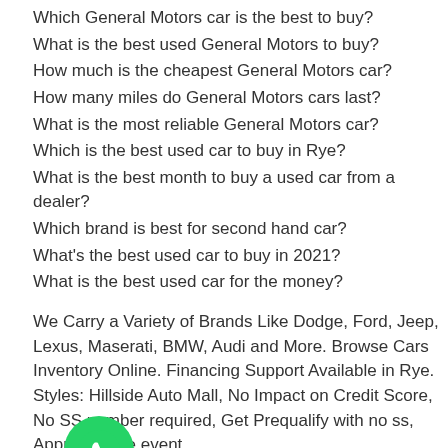Which General Motors car is the best to buy?
What is the best used General Motors to buy?
How much is the cheapest General Motors car?
How many miles do General Motors cars last?
What is the most reliable General Motors car?
Which is the best used car to buy in Rye?
What is the best month to buy a used car from a dealer?
Which brand is best for second hand car?
What's the best used car to buy in 2021?
What is the best used car for the money?
We Carry a Variety of Brands Like Dodge, Ford, Jeep, Lexus, Maserati, BMW, Audi and More. Browse Cars Inventory Online. Financing Support Available in Rye. Styles: Hillside Auto Mall, No Impact on Credit Score, No SS number required, Get Prequalify with no ss, Approval sale event.
[Figure (logo): WhatsApp logo green circle with phone handset icon]